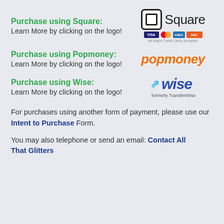Purchase using Square:
Learn More by clicking on the logo!
[Figure (logo): Square logo with credit card icons below (VISA, Mastercard, Amex, Discover) and text 'All Major Credit Cards Accepted']
Purchase using Popmoney:
Learn More by clicking on the logo!
[Figure (logo): Popmoney logo in orange italic bold text]
Purchase using Wise:
Learn More by clicking on the logo!
[Figure (logo): Wise logo with blue arrow/bolt icon and italic bold 'wise' text, subtitle 'formerly TransferWise']
For purchases using another form of payment, please use our Intent to Purchase Form.
You may also telephone or send an email: Contact All That Glitters